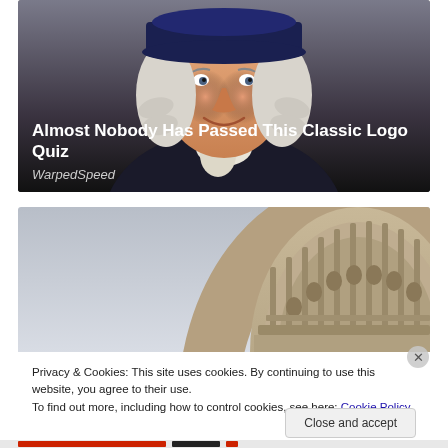[Figure (illustration): Illustrated portrait of a colonial-era figure in dark coat and white powdered wig with blue hat, smiling, against a dark gradient background]
Almost Nobody Has Passed This Classic Logo Quiz
WarpedSpeed
[Figure (photo): Photograph of the US Capitol building dome against a light grey sky, cropped to show the upper right portion of the dome with ornate classical architecture detail]
Privacy & Cookies: This site uses cookies. By continuing to use this website, you agree to their use.
To find out more, including how to control cookies, see here: Cookie Policy